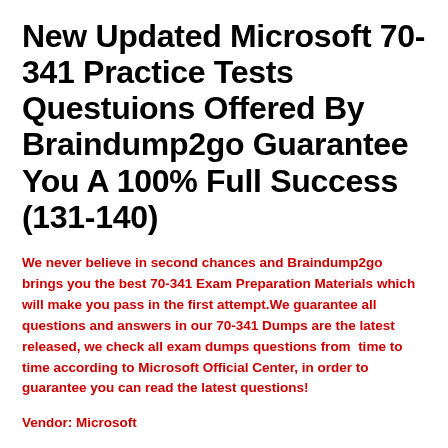New Updated Microsoft 70-341 Practice Tests Questuions Offered By Braindump2go Guarantee You A 100% Full Success (131-140)
We never believe in second chances and Braindump2go brings you the best 70-341 Exam Preparation Materials which will make you pass in the first attempt.We guarantee all questions and answers in our 70-341 Dumps are the latest released, we check all exam dumps questions from  time to time according to Microsoft Official Center, in order to guarantee you can read the latest questions!
Vendor: Microsoft